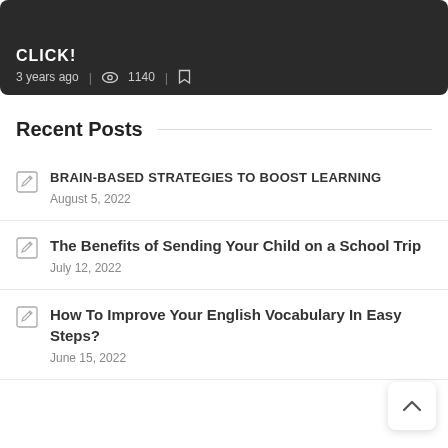[Figure (photo): Dark background image with partially visible bold white text at top and metadata showing '3 years ago | eye-icon 1140 | bookmark-icon']
Recent Posts
BRAIN-BASED STRATEGIES TO BOOST LEARNING
August 5, 2022
The Benefits of Sending Your Child on a School Trip
July 12, 2022
How To Improve Your English Vocabulary In Easy Steps?
June 15, 2022